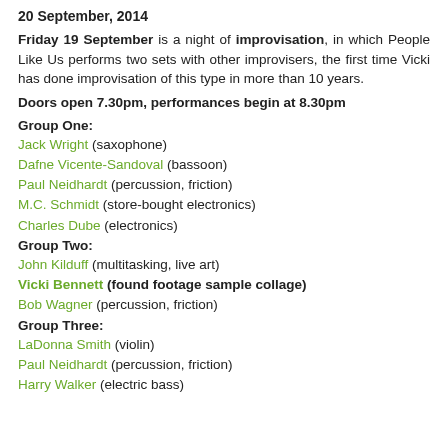20 September, 2014
Friday 19 September is a night of improvisation, in which People Like Us performs two sets with other improvisers, the first time Vicki has done improvisation of this type in more than 10 years.
Doors open 7.30pm, performances begin at 8.30pm
Group One:
Jack Wright (saxophone)
Dafne Vicente-Sandoval (bassoon)
Paul Neidhardt (percussion, friction)
M.C. Schmidt (store-bought electronics)
Charles Dube (electronics)
Group Two:
John Kilduff (multitasking, live art)
Vicki Bennett (found footage sample collage)
Bob Wagner (percussion, friction)
Group Three:
LaDonna Smith (violin)
Paul Neidhardt (percussion, friction)
Harry Walker (electric bass)